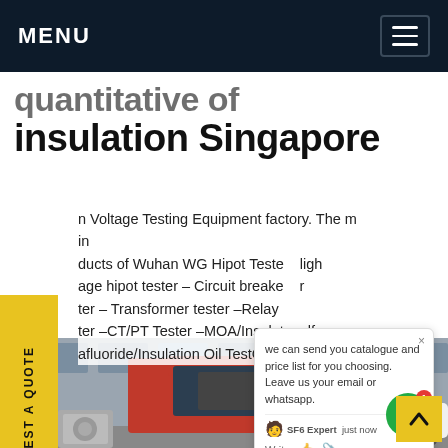MENU
quantitative of insulation Singapore
n Voltage Testing Equipment factory. The main ducts of Wuhan WG Hipot Tester High age hipot tester - Circuit breaker ter - Transformer tester -Relay ter -CT/PT Tester -MOA/Insulat ultr afluoride/Insulation Oil TestG
[Figure (screenshot): Chat popup overlay showing text: we can send you catalogue and price list for you choosing. Leave us your email or whatsapp. SF6 Expert just now. Write [like] [paperclip] icons.]
[Figure (photo): Photo of a large red electrical testing equipment vehicle/truck parked in front of a building, with an air conditioning unit and a white car visible.]